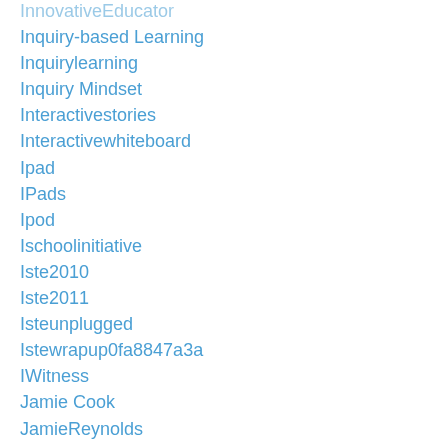InnovativeEducator
Inquiry-based Learning
Inquirylearning
Inquiry Mindset
Interactivestories
Interactivewhiteboard
Ipad
IPads
Ipod
Ischoolinitiative
Iste2010
Iste2011
Isteunplugged
Istewrapup0fa8847a3a
IWitness
Jamie Cook
JamieReynolds
Janwells
Jason Neiffer
Jasonschmidt
Jeffbradbury